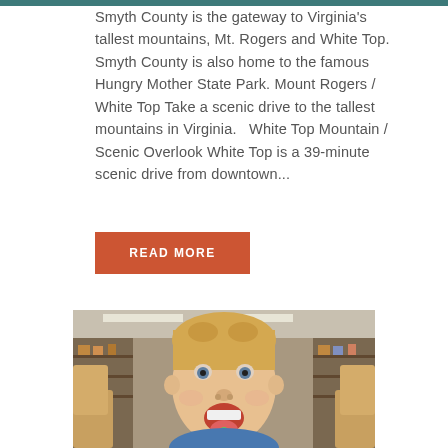Smyth County is the gateway to Virginia's tallest mountains, Mt. Rogers and White Top. Smyth County is also home to the famous Hungry Mother State Park. Mount Rogers / White Top Take a scenic drive to the tallest mountains in Virginia.   White Top Mountain / Scenic Overlook White Top is a 39-minute scenic drive from downtown...
READ MORE
[Figure (photo): A young blonde boy with his mouth open and tongue out, appearing to be catching or tasting something, photographed inside what appears to be a shop or store with shelves and wooden furniture visible in the background.]